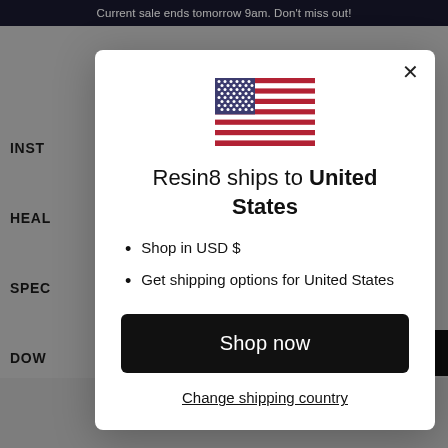Current sale ends tomorrow 9am. Don't miss out!
[Figure (screenshot): Background of a website with navigation items (INST, HEAL, SPEC, DOW, RELA) and chevrons, with a scroll-to-top button, dimmed behind modal overlay]
[Figure (illustration): US flag SVG illustration]
Resin8 ships to United States
Shop in USD $
Get shipping options for United States
Shop now
Change shipping country